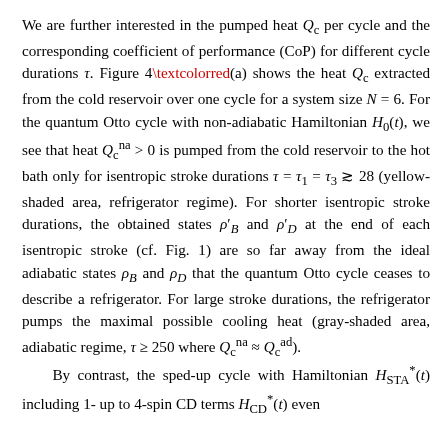We are further interested in the pumped heat Q_c per cycle and the corresponding coefficient of performance (CoP) for different cycle durations τ. Figure 4(a) shows the heat Q_c extracted from the cold reservoir over one cycle for a system size N = 6. For the quantum Otto cycle with non-adiabatic Hamiltonian H_0(t), we see that heat Q_c^na > 0 is pumped from the cold reservoir to the hot bath only for isentropic stroke durations τ = τ_1 = τ_3 ≳ 28 (yellow-shaded area, refrigerator regime). For shorter isentropic stroke durations, the obtained states ρ'_B and ρ'_D at the end of each isentropic stroke (cf. Fig. 1) are so far away from the ideal adiabatic states ρ_B and ρ_D that the quantum Otto cycle ceases to describe a refrigerator. For large stroke durations, the refrigerator pumps the maximal possible cooling heat (gray-shaded area, adiabatic regime, τ ≥ 250 where Q_c^na ≈ Q_c^ad). By contrast, the sped-up cycle with Hamiltonian H*_STA(t) including 1- up to 4-spin CD terms H*_CD(t) even